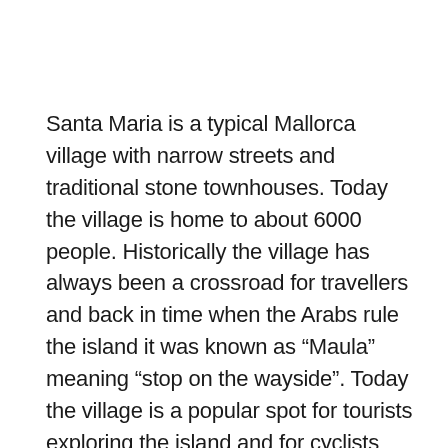Santa Maria is a typical Mallorca village with narrow streets and traditional stone townhouses. Today the village is home to about 6000 people. Historically the village has always been a crossroad for travellers and back in time when the Arabs rule the island it was known as “Maula” meaning “stop on the wayside”. Today the village is a popular spot for tourists exploring the island and for cyclists taking a break as they pass through. The village is surrounded by miles of wonderful road biking and the landscape is dominated by the wide open countryside with almond and carob trees and vineyards